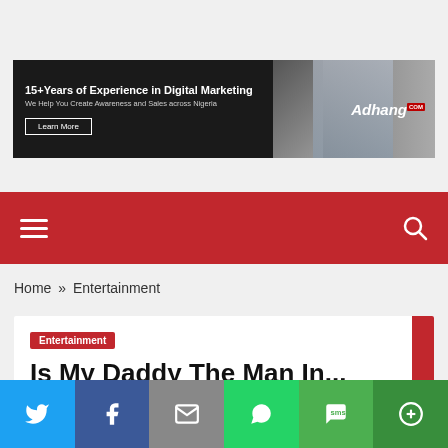[Figure (infographic): Adhang.com advertisement banner: black background with text '15+Years of Experience in Digital Marketing', 'We Help You Create Awareness and Sales across Nigeria', 'Learn More' button, woman in white t-shirt, and Adhang.com logo on right]
[Figure (other): Red navigation bar with hamburger menu icon on left and search magnifying glass icon on right]
Home » Entertainment
Entertainment
Is My Daddy The Man In...
[Figure (other): Social share bar at bottom with Twitter, Facebook, Email, WhatsApp, SMS, and More buttons]